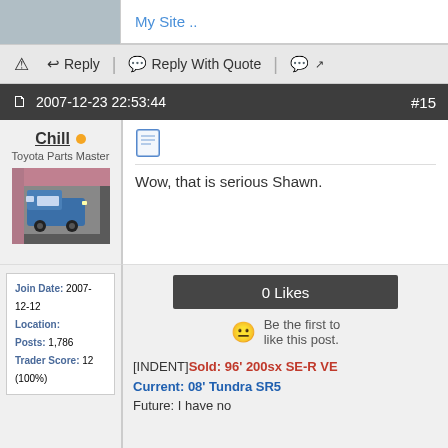My Site ..
⚠ Reply | Reply With Quote |
2007-12-23 22:53:44    #15
Chill
Toyota Parts Master
Join Date: 2007-12-12
Location:
Posts: 1,786
Trader Score: 12 (100%)
Wow, that is serious Shawn.
0 Likes
Be the first to like this post.
[INDENT]Sold: 96' 200sx SE-R VE Current: 08' Tundra SR5
Future: I have no